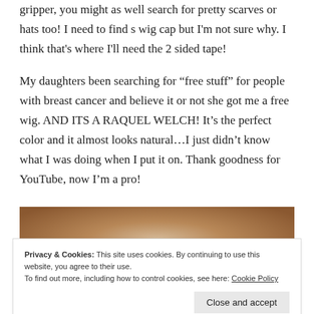gripper, you might as well search for pretty scarves or hats too! I need to find s wig cap but I'm not sure why. I think that's where I'll need the 2 sided tape!
My daughters been searching for "free stuff" for people with breast cancer and believe it or not she got me a free wig. AND ITS A RAQUEL WELCH! It's the perfect color and it almost looks natural…I just didn't know what I was doing when I put it on. Thank goodness for YouTube, now I'm a pro!
[Figure (photo): Partial photo of a person wearing a wig, visible from the head area, with a blurred indoor background]
Privacy & Cookies: This site uses cookies. By continuing to use this website, you agree to their use.
To find out more, including how to control cookies, see here: Cookie Policy
Close and accept